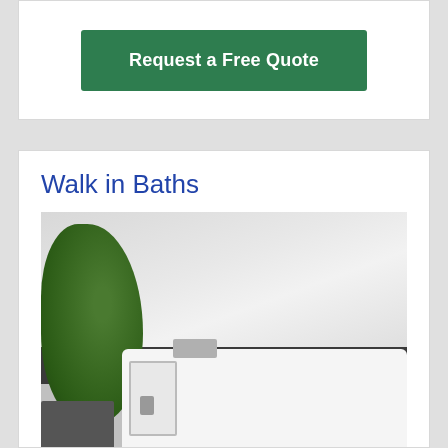Request a Free Quote
Walk in Baths
[Figure (photo): Walk-in bath tub in a modern bathroom setting with white wall panels, a dark horizontal stripe accent, a green plant on the left, and a white walk-in bath with chrome faucet and door with handle in the foreground.]